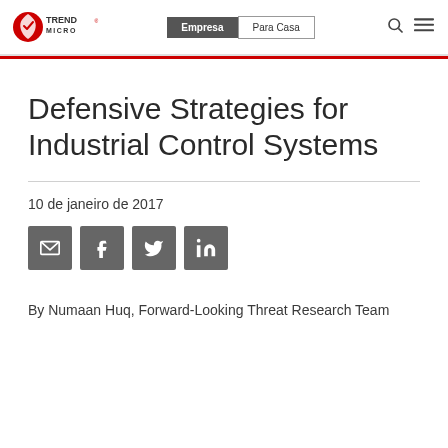Trend Micro | Empresa | Para Casa
Defensive Strategies for Industrial Control Systems
10 de janeiro de 2017
[Figure (other): Social sharing icons: email, Facebook, Twitter, LinkedIn]
By Numaan Huq, Forward-Looking Threat Research Team